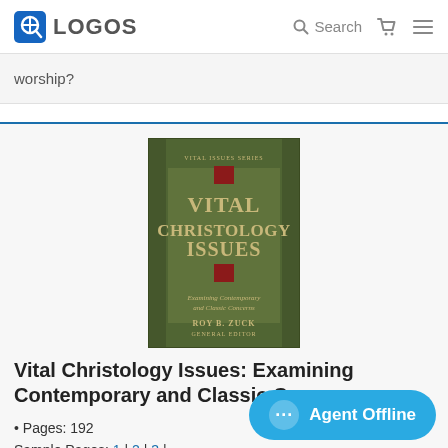LOGOS | Search
worship?
[Figure (photo): Book cover of 'Vital Christology Issues: Examining Contemporary and Classic Concerns' edited by Roy B. Zuck, General Editor. Green background with gold serif title text and small red decorative elements.]
Vital Christology Issues: Examining Contemporary and Classic Concerns
Pages: 192
Sample Pages: 1 | 2 | 3 |
Agent Offline